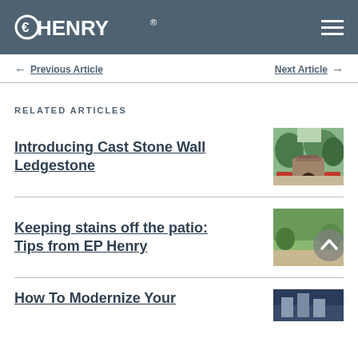EP HENRY
← Previous Article    Next Article →
RELATED ARTICLES
Introducing Cast Stone Wall Ledgestone
[Figure (photo): Outdoor patio with stone fireplace and seating area with trees in background]
Keeping stains off the patio: Tips from EP Henry
[Figure (photo): Outdoor patio scene with greenery, with a circular scroll-to-top button overlaid]
How To Modernize Your